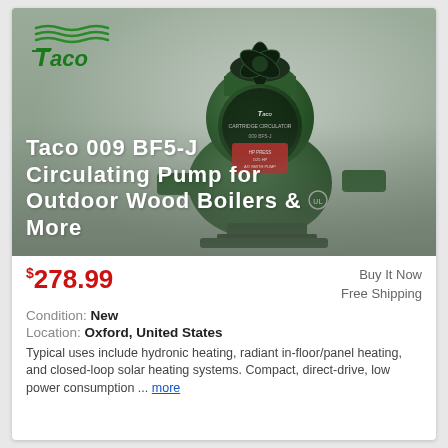[Figure (photo): Taco brand circulating pump (model 009 BF5-J), dark green cast iron body with circular motor housing bearing the Taco logo, shown against a neutral grey background with Taco logo visible in upper left]
Taco 009 BF5-J Circulating Pump for Outdoor Wood Boilers & More
$278.99
Buy It Now
Free Shipping
Condition: New
Location: Oxford, United States
Typical uses include hydronic heating, radiant in-floor/panel heating, and closed-loop solar heating systems. Compact, direct-drive, low power consumption ... more